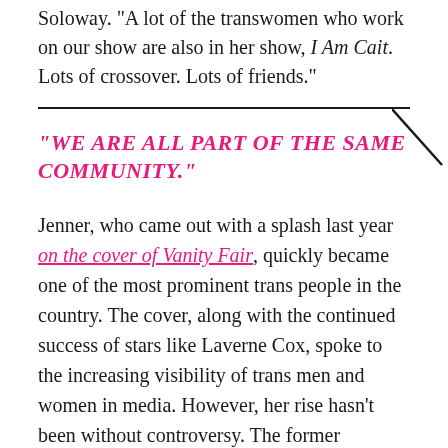Soloway. "A lot of the transwomen who work on our show are also in her show, I Am Cait. Lots of crossover. Lots of friends."
"WE ARE ALL PART OF THE SAME COMMUNITY."
Jenner, who came out with a splash last year on the cover of Vanity Fair, quickly became one of the most prominent trans people in the country. The cover, along with the continued success of stars like Laverne Cox, spoke to the increasing visibility of trans men and women in media. However, her rise hasn't been without controversy. The former Olympian, a Republican, recently came out in support of presidential candidate Ted Cruz, but was forced to walk back her endorsement in a